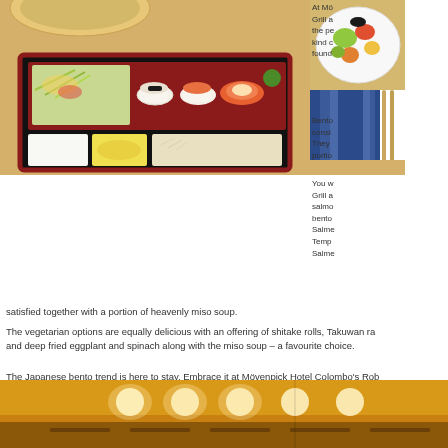[Figure (photo): Japanese bento box with sushi, rice, salad compartments on wooden table; also showing a dish with colorful food on the right side]
At Mö Grill a the pe kind c found
Bento consi They portio
You w Grill a salmo bento Salme Temp Salme
satisfied together with a portion of heavenly miso soup.
The vegetarian options are equally delicious with an offering of shitake rolls, Takuwan ra and deep fried eggplant and spinach along with the miso soup – a favourite choice.
The Japanese bento trend is here to stay. Embrace it at Mövenpick Hotel Colombo's Rob boxes promise an array of wildly different options, all meticulously and thoughtfully organ goodness.
[Figure (photo): Interior of a restaurant with warm orange lighting, ceiling lights, and dining setup]